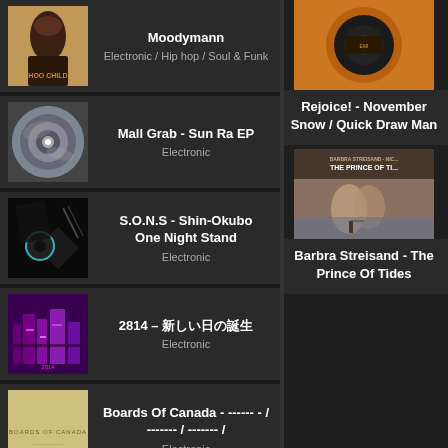[Figure (other): Album art for Moodymann - Electronic/Hip hop/Soul & Funk]
Moodymann
Electronic / Hip hop / Soul & Funk
[Figure (other): Album art for Mall Grab - Sun Ra EP]
Mall Grab - Sun Ra EP
Electronic
[Figure (other): Album art for S.O.N.S - Shin-Okubo One Night Stand]
S.O.N.S - Shin-Okubo One Night Stand
Electronic
[Figure (other): Album art for 2814]
2814 - 新しい日の誕生
Electronic
[Figure (other): Album art for Boards Of Canada]
Boards Of Canada - ------ - / ------- / ------- /
Electronic
[Figure (other): Album art for Sleep - Live At Third Man Records]
Sleep - Live At Third Man Records
[Figure (other): Album art for Rejoice! - November Snow / Quick Draw Man]
Rejoice! - November Snow / Quick Draw Man
[Figure (other): Album art for Barbra Streisand - The Prince Of Tides]
Barbra Streisand - The Prince Of Tides